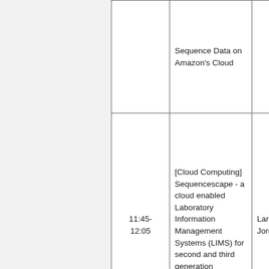| Time | Title | Speaker |
| --- | --- | --- |
|  | Sequence Data on Amazon's Cloud |  |
| 11:45-12:05 | [Cloud Computing] Sequencescape - a cloud enabled Laboratory Information Management Systems (LIMS) for second and third generation sequencing | Lars Jorgensen |
| 12:05- | [Cloud Computing] Enabling NGS |  |